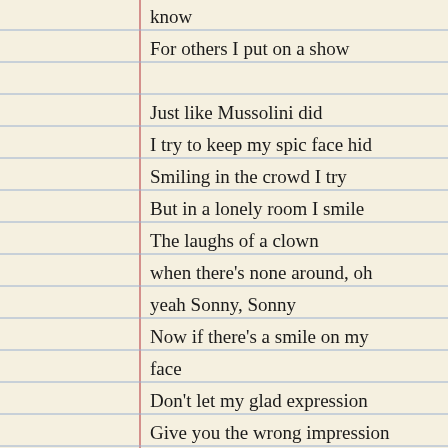know
For others I put on a show
Just like Mussolini did
I try to keep my spic face hid
Smiling in the crowd I try
But in a lonely room I smile
The laughs of a clown
when there's none around, oh
yeah Sonny, Sonny
Now if there's a smile on my
face
Don't let my glad expression
Give you the wrong impression